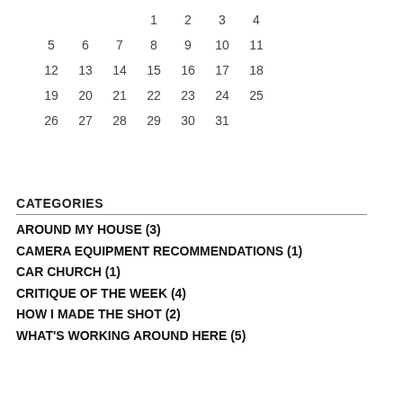|  |  |  | 1 | 2 | 3 | 4 |
| 5 | 6 | 7 | 8 | 9 | 10 | 11 |
| 12 | 13 | 14 | 15 | 16 | 17 | 18 |
| 19 | 20 | 21 | 22 | 23 | 24 | 25 |
| 26 | 27 | 28 | 29 | 30 | 31 |  |
CATEGORIES
AROUND MY HOUSE (3)
CAMERA EQUIPMENT RECOMMENDATIONS (1)
CAR CHURCH (1)
CRITIQUE OF THE WEEK (4)
HOW I MADE THE SHOT (2)
WHAT'S WORKING AROUND HERE (5)
MY ONLINE PHOTOGRAPHY WORKSHOP
[Figure (logo): SHOOT from the heart logo]
Beach to take family photos. (The first time we'd ever had family photos taken.)
[Figure (photo): Close-up blurred photo of a flower or object with yellow and blue tones]